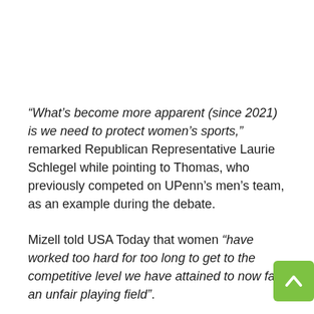“What’s become more apparent (since 2021) is we need to protect women’s sports,” remarked Republican Representative Laurie Schlegel while pointing to Thomas, who previously competed on UPenn’s men’s team, as an example during the debate.
Mizell told USA Today that women “have worked too hard for too long to get to the competitive level we have attained to now face an unfair playing field”.
Those on the other side of the argument than Mizell, such as House Democratic Chairman Sam Jenkins of Shreveport, claimed that the bill bullies